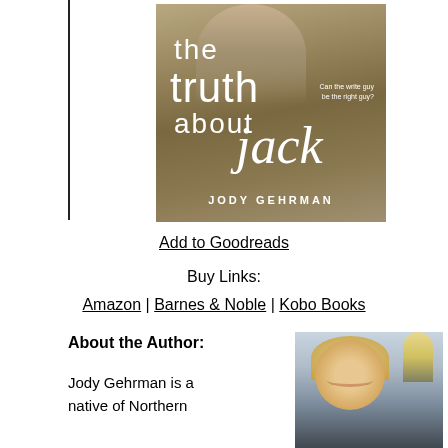[Figure (photo): Book cover for 'The Truth About Jack' by Jody Gehrman, showing two people in a field, white cursive and serif title text, with tagline 'Can the write guy be the right guy?']
Add to Goodreads
Buy Links:
Amazon | Barnes & Noble | Kobo Books
About the Author:
Jody Gehrman is a native of Northern
[Figure (photo): Photo of author Jody Gehrman, a woman with curly blonde hair, smiling, indoors with a lamp visible in the background]